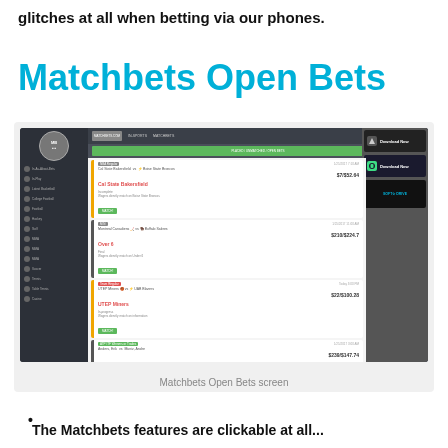glitches at all when betting via our phones.
Matchbets Open Bets
[Figure (screenshot): Screenshot of the Matchbets.com website showing the Open Bets screen with multiple open bets listed including Cal State Bakersfield ($7/$52.64), Over 6 ($210/$224.7), UTEP Miners ($22/$100.28), Muniz, Andre ($239/$147.74), and Florida Atlantic Owls ($121/$74.23). The right panel shows iOS and Android download buttons.]
Matchbets Open Bets screen
The Matchbets features are clickable at all...